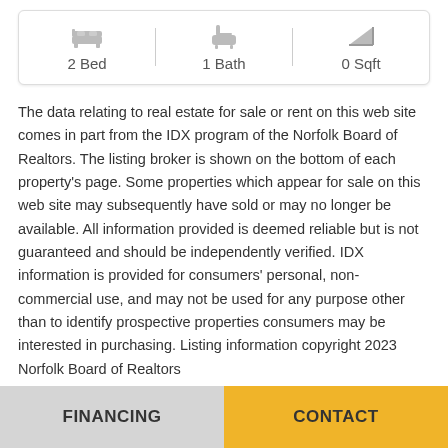[Figure (infographic): Property stats card showing 2 Bed | 1 Bath | 0 Sqft with icons for each]
The data relating to real estate for sale or rent on this web site comes in part from the IDX program of the Norfolk Board of Realtors. The listing broker is shown on the bottom of each property's page. Some properties which appear for sale on this web site may subsequently have sold or may no longer be available. All information provided is deemed reliable but is not guaranteed and should be independently verified. IDX information is provided for consumers' personal, non-commercial use, and may not be used for any purpose other than to identify prospective properties consumers may be interested in purchasing. Listing information copyright 2023 Norfolk Board of Realtors
FINANCING | CONTACT